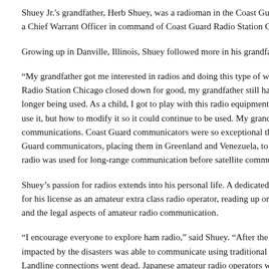Shuey Jr.'s grandfather, Herb Shuey, was a radioman in the Coast Guard and eventually became a Chief Warrant Officer in command of Coast Guard Radio Station Chicago.
Growing up in Danville, Illinois, Shuey followed more in his grandfather's footsteps.
“My grandfather got me interested in radios and doing this type of work in the Coast Guard. When Radio Station Chicago closed down for good, my grandfather still had access to radio equipment no longer being used. As a child, I got to play with this radio equipment and learned not only how to use it, but how to modify it so it could continue to be used. My grandfather was an expert in radio communications. Coast Guard communicators were so exceptional that other agencies borrowed Coast Guard communicators, placing them in Greenland and Venezuela, to inter-connect radio networks. HF radio was used for long-range communication before satellite communications existed.”
Shuey’s passion for radios extends into his personal life. A dedicated ham radio operator, he studied for his license as an amateur extra class radio operator, reading up on electronics, antenna theory and the legal aspects of amateur radio communication.
“I encourage everyone to explore ham radio,” said Shuey. “After the tsunami in Japan, no one impacted by the disasters was able to communicate using traditional means for a period of time. Landline connections went dead. Japanese amateur radio operators were able to relay information within the country and to the outside world.”